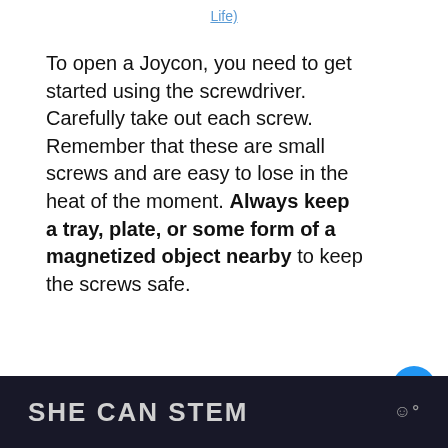Life)
To open a Joycon, you need to get started using the screwdriver. Carefully take out each screw. Remember that these are small screws and are easy to lose in the heat of the moment. Always keep a tray, plate, or some form of a magnetized object nearby to keep the screws safe.
[Figure (screenshot): UI widget showing a heart/like button (blue circle with heart icon), like count of 3, and a share button]
[Figure (screenshot): What's Next card with thumbnail image: 'WHAT'S NEXT → How Long Does Joyco...']
SHE CAN STEM